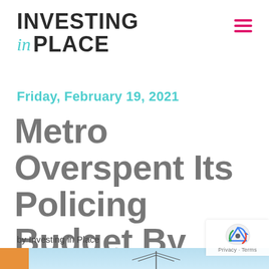INVESTING in PLACE
Friday, February 19, 2021
Metro Overspent Its Policing Budget By How Much?!
by Investing in Place
[Figure (photo): Bottom strip of a photo showing a blue sky with an antenna/aerial structure visible]